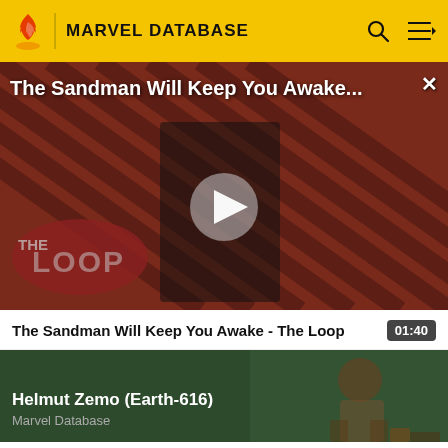MARVEL DATABASE
[Figure (screenshot): Video thumbnail for 'The Sandman Will Keep You Awake - The Loop' showing a dark-cloaked figure against a red diagonal-striped background with THE LOOP branding and a play button overlay]
The Sandman Will Keep You Awake - The Loop  01:40
[Figure (illustration): Marvel Database card for Helmut Zemo (Earth-616) showing comic book art of the character on a dark green background]